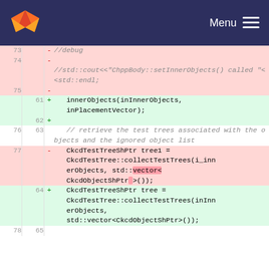[Figure (screenshot): GitLab navigation bar with orange fox logo and Menu button on dark navy background]
Code diff view showing removed lines (73-77) with red background and added lines (61-64) with green background. Content includes debug comment removal and refactoring of innerObjects and CkcdTestTreeShPtr tree variable calls.